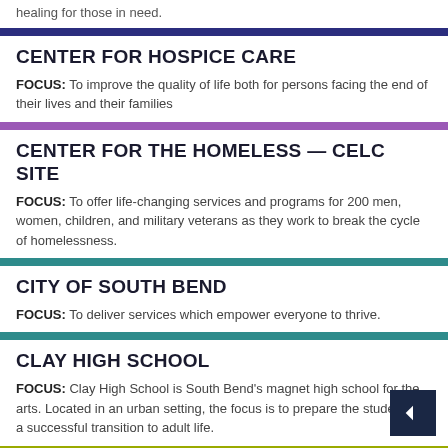healing for those in need.
CENTER FOR HOSPICE CARE
FOCUS: To improve the quality of life both for persons facing the end of their lives and their families
CENTER FOR THE HOMELESS — CELC SITE
FOCUS: To offer life-changing services and programs for 200 men, women, children, and military veterans as they work to break the cycle of homelessness.
CITY OF SOUTH BEND
FOCUS: To deliver services which empower everyone to thrive.
CLAY HIGH SCHOOL
FOCUS: Clay High School is South Bend's magnet high school for the arts. Located in an urban setting, the focus is to prepare the students for a successful transition to adult life.
CLUBHOUSE OF SAINT JOSEPH COUNTY